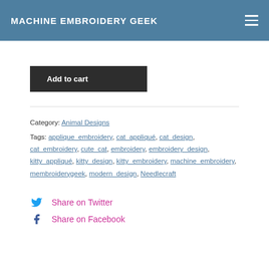MACHINE EMBROIDERY GEEK
Add to cart
Category: Animal Designs
Tags: applique_embroidery, cat_appliqué, cat_design, cat_embroidery, cute_cat, embroidery, embroidery_design, kitty_appliqué, kitty_design, kitty_embroidery, machine_embroidery, membroiderygeek, modern_design, Needlecraft
Share on Twitter
Share on Facebook